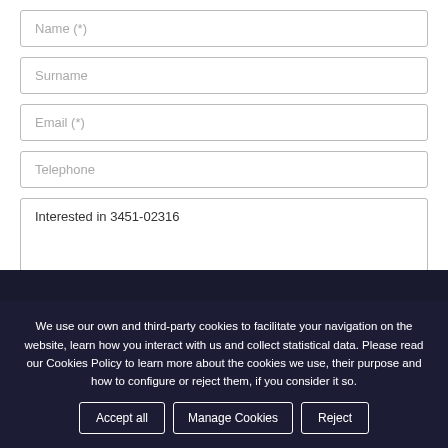Name (*)
Surname
Email (*)
Telephone
Interested in  3451-02316
We use our own and third-party cookies to facilitate your navigation on the website, learn how you interact with us and collect statistical data. Please read our Cookies Policy to learn more about the cookies we use, their purpose and how to configure or reject them, if you consider it so.
Accept all
Manage Cookies
Reject
QUESTION?
when you press the button 'SEND' you confirm you are in knowledge of and Policy shown in this LINK.